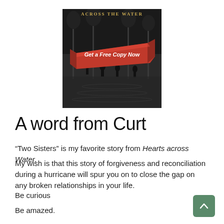[Figure (illustration): Book cover image for 'Across the Water' showing a black and white flooded street scene with a red banner reading 'Get a Free Copy Now']
A word from Curt
“Two Sisters” is my favorite story from Hearts across Water.
My wish is that this story of forgiveness and reconciliation during a hurricane will spur you on to close the gap on any broken relationships in your life.
Be curious
Be amazed.